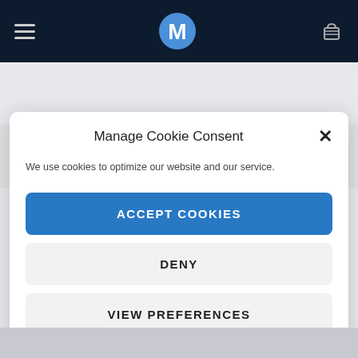[Figure (screenshot): Motorola website navigation bar with hamburger menu, Motorola logo, and cart icon on dark navy background]
Manage Cookie Consent
We use cookies to optimize our website and our service.
ACCEPT COOKIES
DENY
VIEW PREFERENCES
Cookie Policy  Privacy Policy  Impressum